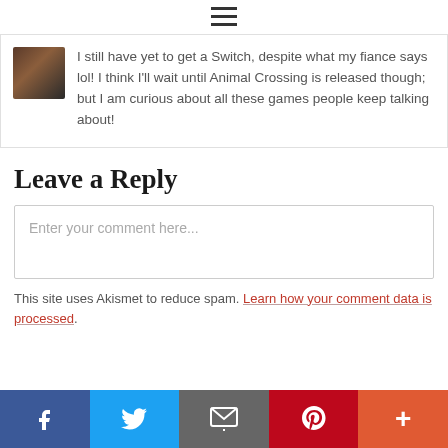[Figure (other): Hamburger menu icon (three horizontal lines)]
I still have yet to get a Switch, despite what my fiance says lol! I think I'll wait until Animal Crossing is released though; but I am curious about all these games people keep talking about!
Leave a Reply
Enter your comment here...
This site uses Akismet to reduce spam. Learn how your comment data is processed.
[Figure (other): Social sharing bar with Facebook, Twitter, Email, Pinterest, and More buttons]